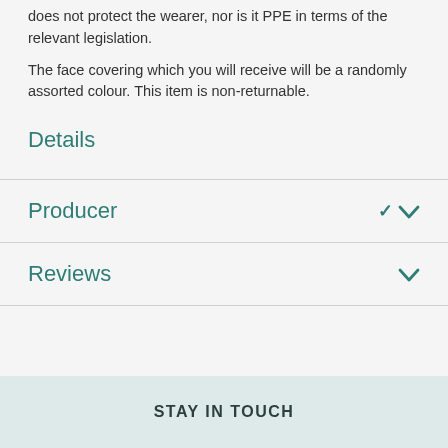does not protect the wearer, nor is it PPE in terms of the relevant legislation.
The face covering which you will receive will be a randomly assorted colour. This item is non-returnable.
Details
Producer
Reviews
STAY IN TOUCH